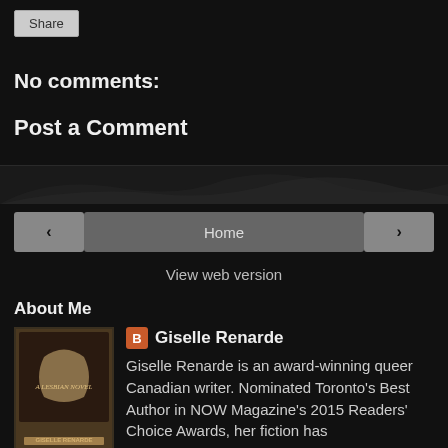Share
No comments:
Post a Comment
‹
Home
›
View web version
About Me
Giselle Renarde
Giselle Renarde is an award-winning queer Canadian writer. Nominated Toronto's Best Author in NOW Magazine's 2015 Readers' Choice Awards, her fiction has appeared in more than 100 short story anthologies, including prestigious collections like Best Lesbian Romance, Best Women's Erotica, and the Lambda Award-winning collection Take Me There, edited by Tristan Taormino. Giselle's juicy novels include